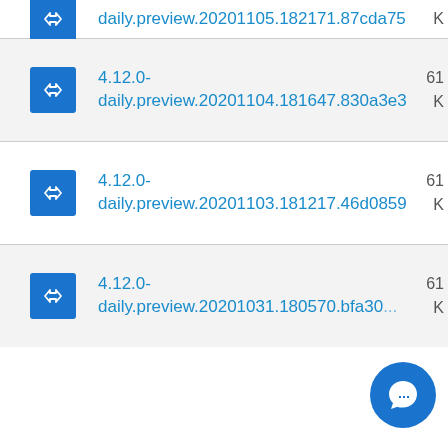daily.preview.20201105.182171.87cda75 KB
4.12.0-daily.preview.20201104.181647.830a3e3 61 KB
4.12.0-daily.preview.20201103.181217.46d0859 61 KB
4.12.0-daily.preview.20201031.180570.bfa30... 61 KB